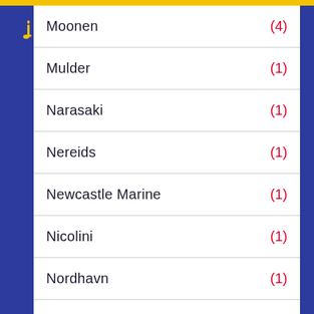Moonen (4)
Mulder (1)
Narasaki (1)
Nereids (1)
Newcastle Marine (1)
Nicolini (1)
Nordhavn (1)
Northcoast (2)
Northern Marine (2)